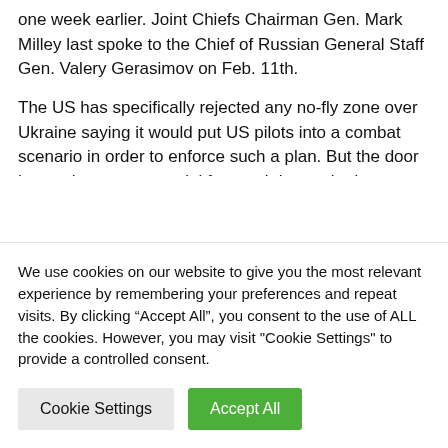one week earlier. Joint Chiefs Chairman Gen. Mark Milley last spoke to the Chief of Russian General Staff Gen. Valery Gerasimov on Feb. 11th.
The US has specifically rejected any no-fly zone over Ukraine saying it would put US pilots into a combat scenario in order to enforce such a plan. But the door is not shut on a potential future air humanitarian corridor to guarantee safe flight of relief supplies hostilities cease,...
We use cookies on our website to give you the most relevant experience by remembering your preferences and repeat visits. By clicking “Accept All”, you consent to the use of ALL the cookies. However, you may visit "Cookie Settings" to provide a controlled consent.